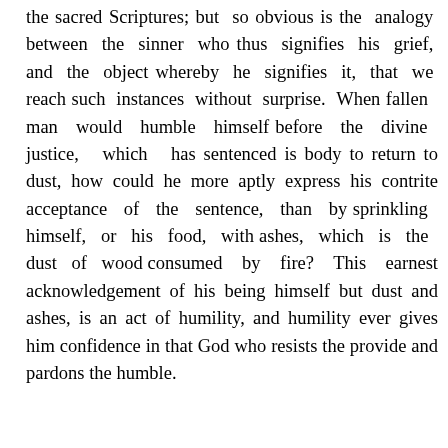the sacred Scriptures; but so obvious is the analogy between the sinner who thus signifies his grief, and the object whereby he signifies it, that we reach such instances without surprise. When fallen man would humble himself before the divine justice, which has sentenced is body to return to dust, how could he more aptly express his contrite acceptance of the sentence, than by sprinkling himself, or his food, with ashes, which is the dust of wood consumed by fire? This earnest acknowledgement of his being himself but dust and ashes, is an act of humility, and humility ever gives him confidence in that God who resists the provide and pardons the humble.